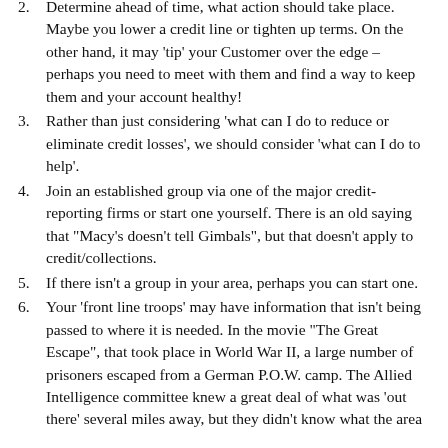Determine ahead of time, what action should take place. Maybe you lower a credit line or tighten up terms. On the other hand, it may ‘tip’ your Customer over the edge – perhaps you need to meet with them and find a way to keep them and your account healthy!
Rather than just considering ‘what can I do to reduce or eliminate credit losses’, we should consider ‘what can I do to help’.
Join an established group via one of the major credit-reporting firms or start one yourself. There is an old saying that “Macy’s doesn’t tell Gimbals”, but that doesn’t apply to credit/collections.
If there isn’t a group in your area, perhaps you can start one.
Your ‘front line troops’ may have information that isn’t being passed to where it is needed. In the movie “The Great Escape”, that took place in World War II, a large number of prisoners escaped from a German P.O.W. camp. The Allied Intelligence committee knew a great deal of what was ‘out there’ several miles away, but they didn’t know what the area